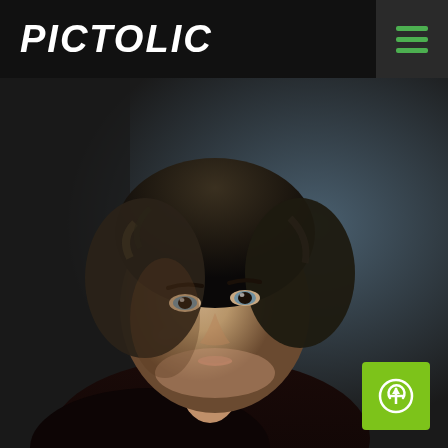PICTOLIC
[Figure (photo): Colorized historical portrait photograph of a young woman with dark curly hair, light blue-gray eyes, wearing a dark top and a thin gold necklace, photographed from the chest up with a slightly turned pose, background is dark blue-gray.]
[Figure (other): Green floating action button with a white circle-arrow (upload/add) icon in the bottom-right corner.]